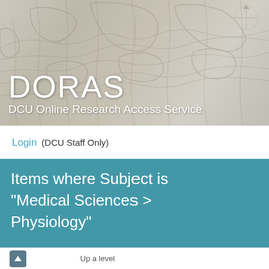[Figure (illustration): Antique world map background with DORAS logo overlay]
DORAS
DCU Online Research Access Service
Login   (DCU Staff Only)
Items where Subject is "Medical Sciences > Physiology"
Up a level